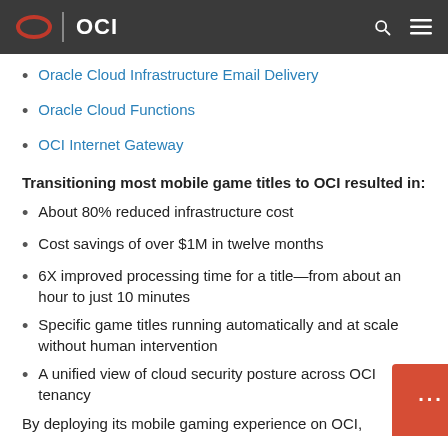OCI
Oracle Cloud Infrastructure Email Delivery
Oracle Cloud Functions
OCI Internet Gateway
Transitioning most mobile game titles to OCI resulted in:
About 80% reduced infrastructure cost
Cost savings of over $1M in twelve months
6X improved processing time for a title—from about an hour to just 10 minutes
Specific game titles running automatically and at scale without human intervention
A unified view of cloud security posture across OCI tenancy
By deploying its mobile gaming experience on OCI,